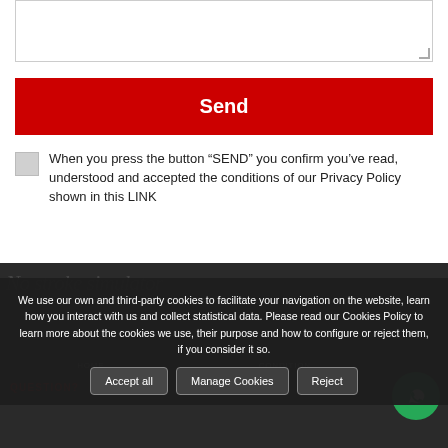[Figure (screenshot): Textarea input box, partially visible at top of page]
Send
When you press the button “SEND” you confirm you’ve read, understood and accepted the conditions of our Privacy Policy shown in this LINK
We use our own and third-party cookies to facilitate your navigation on the website, learn how you interact with us and collect statistical data. Please read our Cookies Policy to learn more about the cookies we use, their purpose and how to configure or reject them, if you consider it so.
Accept all
Manage Cookies
Reject
QUESTION?